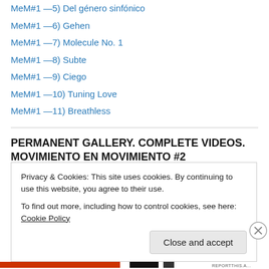MeM#1 —5) Del género sinfónico
MeM#1 —6) Gehen
MeM#1 —7) Molecule No. 1
MeM#1 —8) Subte
MeM#1 —9) Ciego
MeM#1 —10) Tuning Love
MeM#1 —11) Breathless
PERMANENT GALLERY. COMPLETE VIDEOS. MOVIMIENTO EN MOVIMIENTO #2
MeM#2 —1) The dance of quail. First movement
Privacy & Cookies: This site uses cookies. By continuing to use this website, you agree to their use.
To find out more, including how to control cookies, see here: Cookie Policy
Close and accept